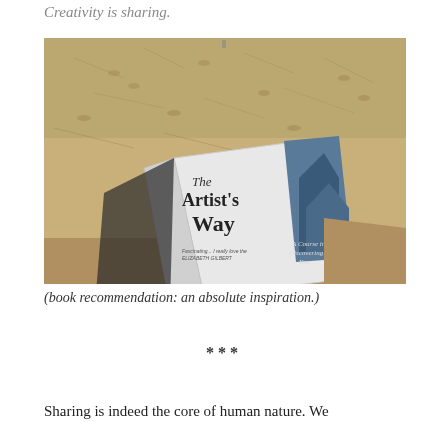Creativity is sharing.
[Figure (photo): Photo of 'The Artist's Way' book lying on sandy beach, with sandy ground visible behind it. The book cover shows the title 'The Artist's Way' and subtitle text 'A Course in Discovering and Your...']
(book recommendation: an absolute inspiration.)
***
Sharing is indeed the core of human nature. We